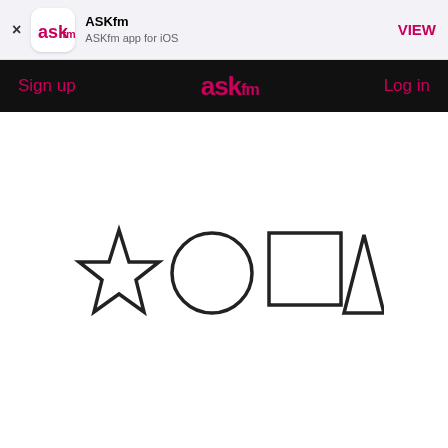[Figure (screenshot): App store banner showing ASKfm app icon, name 'ASKfm', subtitle 'ASKfm app for iOS', with a close X button and VIEW button]
Sign up   ASKfm   Log in
[Figure (illustration): Four outline shapes: a pentagram star, a circle, a square, and a triangle]